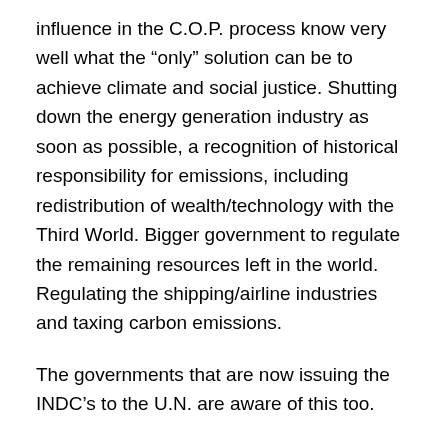influence in the C.O.P. process know very well what the “only” solution can be to achieve climate and social justice. Shutting down the energy generation industry as soon as possible, a recognition of historical responsibility for emissions, including redistribution of wealth/technology with the Third World. Bigger government to regulate the remaining resources left in the world. Regulating the shipping/airline industries and taxing carbon emissions.
The governments that are now issuing the INDC’s to the U.N. are aware of this too.
There is no thought of financially regulating the fossil fuel industry to prevent a climate disaster. No thought of introducing a financial transactions tax to pay for climate change, or to close tax havens in an effort to have corporations ‘pay their share’.